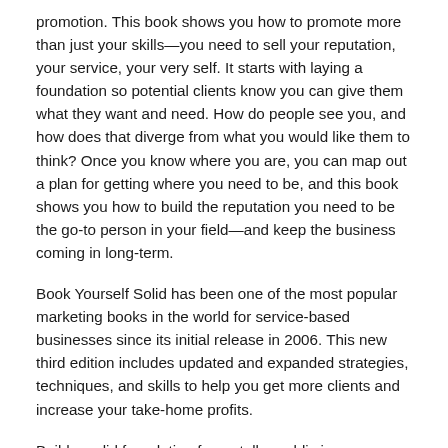promotion. This book shows you how to promote more than just your skills—you need to sell your reputation, your service, your very self. It starts with laying a foundation so potential clients know you can give them what they want and need. How do people see you, and how does that diverge from what you would like them to think? Once you know where you are, you can map out a plan for getting where you need to be, and this book shows you how to build the reputation you need to be the go-to person in your field—and keep the business coming in long-term.
Book Yourself Solid has been one of the most popular marketing books in the world for service-based businesses since its initial release in 2006. This new third edition includes updated and expanded strategies, techniques, and skills to help you get more clients and increase your take-home profits.
Build a solid foundation for a stellar public image